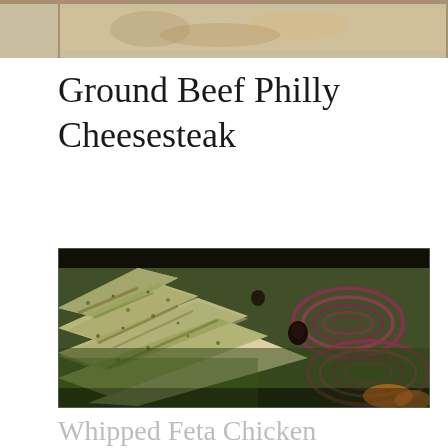[Figure (photo): Top cropped food photo showing a dish, partially visible at the top of the page]
Ground Beef Philly Cheesesteak
[Figure (photo): Close-up photo of grilled chicken slices topped with herb pesto/chimichurri sauce, served on a salad with red onion rings, black olives, and mixed greens]
Whipped Feta Chicken